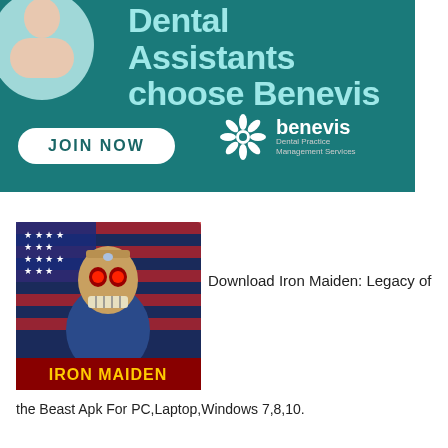[Figure (infographic): Teal advertisement banner for Benevis Dental Practice Management Services. Shows headline 'Dental Assistants choose Benevis', a JOIN NOW button, and the Benevis logo with snowflake icon. Partially visible person image in top-left corner.]
[Figure (photo): Iron Maiden: Legacy of the Beast game app icon showing a skeletal zombie-like character (Eddie) in military gear against an American flag background, with 'IRON MAIDEN' text at the bottom in red stylized font.]
Download Iron Maiden: Legacy of the Beast Apk For PC,Laptop,Windows 7,8,10.